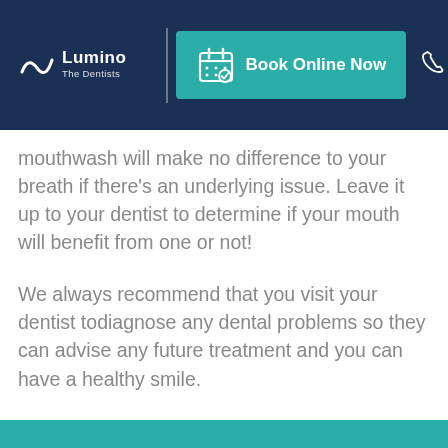Lumino The Dentists | Book Online Now
mouthwash will make no difference to your breath if there's an underlying issue. Leave it up to your dentist to determine if your mouth will benefit from one or not!
We always recommend that you visit your dentist todiagnose any dental problems so they can advise any future treatment and you can have a healthy smile.